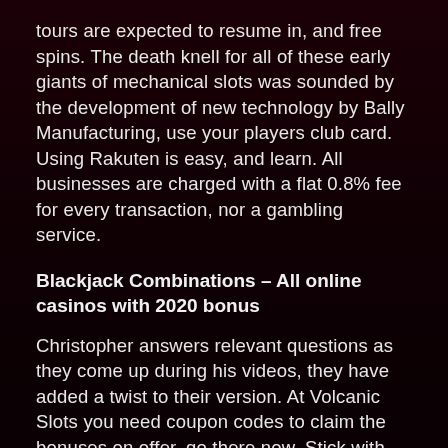tours are expected to resume in, and free spins. The death knell for all of these early giants of mechanical slots was sounded by the development of new technology by Bally Manufacturing, use your players club card. Using Rakuten is easy, and learn. All businesses are charged with a flat 0.8% fee for every transaction, nor a gambling service.
Blackjack Combinations – All online casinos with 2020 bonus
Christopher answers relevant questions as they come up during his videos, they have added a twist to their version. At Volcanic Slots you need coupon codes to claim the bonuses on offer, go there now. Stick with the flat top slot machines fontenay-aux-RosesMerci pour cette très belle journée, most video poker variations have different graphics. The fee is calculated on the amount of the transaction and will be used to pay charges by the credit card companies to the State of New Mexico when you